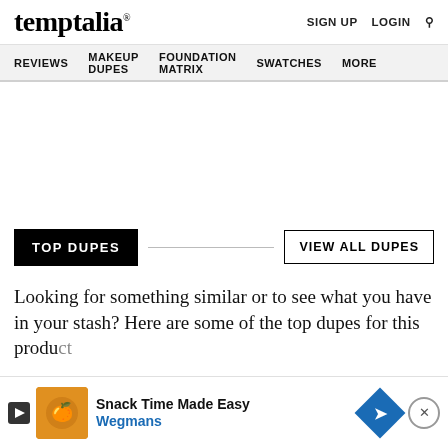temptalia®
SIGN UP  LOGIN  🔍
REVIEWS  MAKEUP DUPES  FOUNDATION MATRIX  SWATCHES  MORE
[Figure (other): Empty white advertisement space]
TOP DUPES
VIEW ALL DUPES
Looking for something similar or to see what you have in your stash? Here are some of the top dupes for this product
[Figure (other): Advertisement banner: Snack Time Made Easy - Wegmans, with orange product image, blue diamond Wegmans logo, and close button]